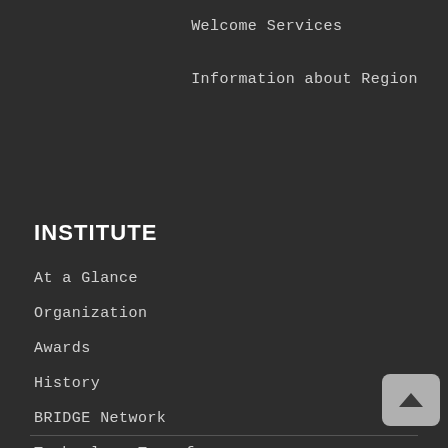Welcome Services
Information about Region
INSTITUTE
At a Glance
Organization
Awards
History
BRIDGE Network
Technology Transfer
Documents